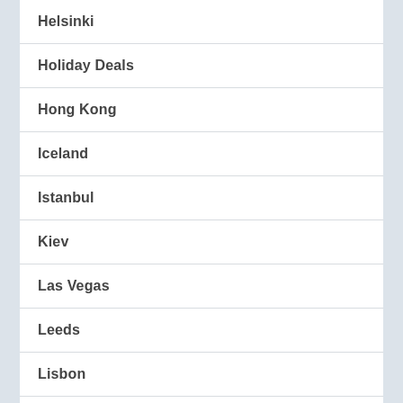Helsinki
Holiday Deals
Hong Kong
Iceland
Istanbul
Kiev
Las Vegas
Leeds
Lisbon